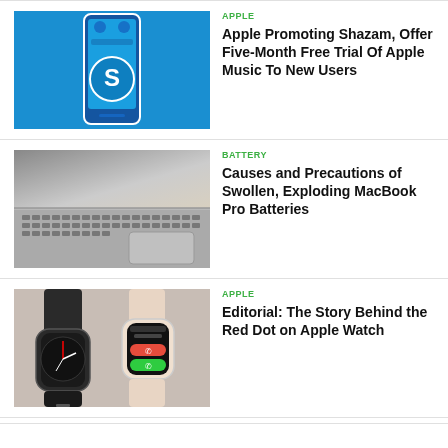[Figure (photo): Smartphone displaying the Shazam app with blue background and Shazam logo]
APPLE
Apple Promoting Shazam, Offer Five-Month Free Trial Of Apple Music To New Users
[Figure (photo): Close-up of a MacBook Pro showing the keyboard and trackpad on a desk]
BATTERY
Causes and Precautions of Swollen, Exploding MacBook Pro Batteries
[Figure (photo): Two Apple Watch models, one showing an incoming call screen with green and red buttons]
APPLE
Editorial: The Story Behind the Red Dot on Apple Watch